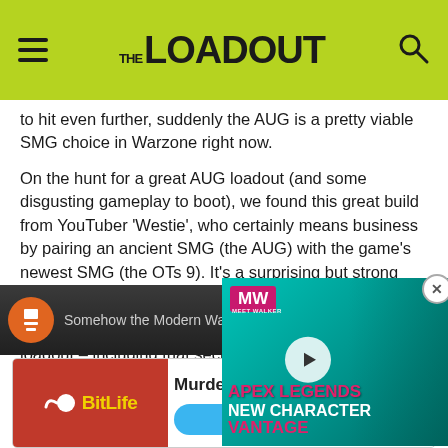THE LOADOUT
to hit even further, suddenly the AUG is a pretty viable SMG choice in Warzone right now.
On the hunt for a great AUG loadout (and some disgusting gameplay to boot), we found this great build from YouTuber 'Westie', who certainly means business by pairing an ancient SMG (the AUG) with the game's newest SMG (the OTs 9). It's a surprising but strong combination.
Here are all the details for this loadout – including that secre one of the best guns in the ga
[Figure (screenshot): Apex Legends New Character Vantage advertisement overlay with pink and teal background and character art]
[Figure (screenshot): Bottom video strip showing 'Somehow the Modern Warfare AUG can...' with orange play button]
[Figure (screenshot): BitLife advertisement banner: Murder - Do it! with red background and yellow logo]